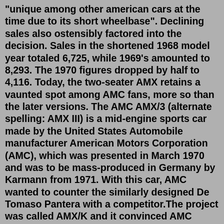"unique among other american cars at the time due to its short wheelbase". Declining sales also ostensibly factored into the decision. Sales in the shortened 1968 model year totaled 6,725, while 1969's amounted to 8,293. The 1970 figures dropped by half to 4,116. Today, the two-seater AMX retains a vaunted spot among AMC fans, more so than the later versions. The AMC AMX/3 (alternate spelling: AMX III) is a mid-engine sports car made by the United States Automobile manufacturer American Motors Corporation (AMC), which was presented in March 1970 and was to be mass-produced in Germany by Karmann from 1971. With this car, AMC wanted to counter the similarly designed De Tomaso Pantera with a competitor.The project was called AMX/K and it convinced AMC management of the idea to actually build a mid-engined sports car, the AMX/3. March 1968, Meyers and Teague went to the Geneva Motor Show to meet Giorgetto Giugiaro and to ask him for a proposal. April 68 photos exists from the Dick Teague design team that present the in-house AMX/3 design